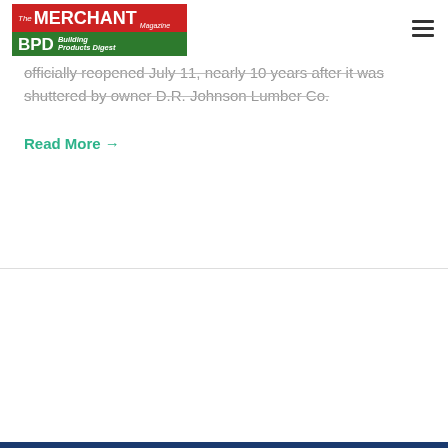[Figure (logo): The Merchant Magazine / BPD Building Products Digest logo. Top half is red with white text 'The MERCHANT Magazine', bottom half is green with white text 'BPD Building Products Digest'.]
officially reopened July 11, nearly 10 years after it was shuttered by owner D.R. Johnson Lumber Co.
Read More →